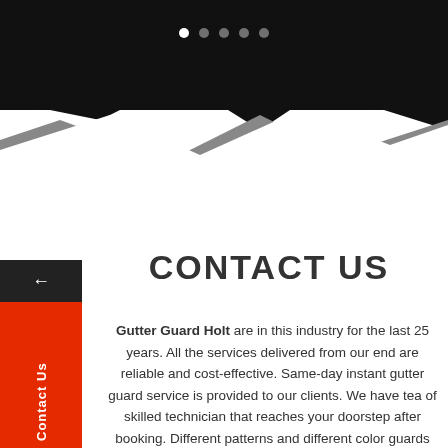[Figure (screenshot): Top black banner with white navigation dots (5 dots, first one active/filled)]
[Figure (illustration): Mountain/jagged wave shape in black and gray over white background, decorative section separator]
[Figure (infographic): Left vertical sidebar with back arrow (dark), Contact Us label (red/orange), arrow icon (red/orange), and phone icon (blue)]
CONTACT US
Gutter Guard Holt are in this industry for the last 25 years. All the services delivered from our end are reliable and cost-effective. Same-day instant gutter guard service is provided to our clients. We have tea of skilled technician that reaches your doorstep after booking. Different patterns and different color guards